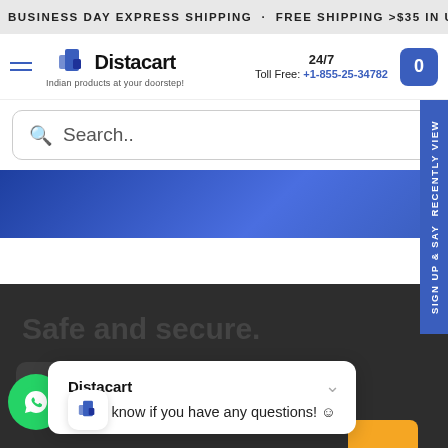BUSINESS DAY EXPRESS SHIPPING . FREE SHIPPING >$35 IN US
[Figure (logo): Distacart logo with shopping bag icon and tagline 'Indian products at your doorstep!']
24/7 Toll Free: +1-855-25-34782
Search..
[Figure (illustration): Blue gradient hero/banner area]
Safe and secure.
Sign up & say RECENTLY VIEW
[Figure (screenshot): Distacart chat popup: 'Distacart - Let us know if you have any questions! 😊']
[Figure (logo): WhatsApp float button (green circle with phone icon)]